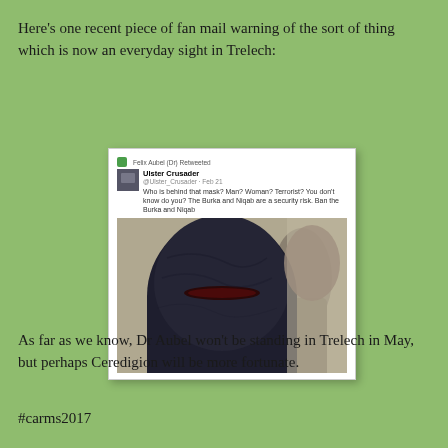Here's one recent piece of fan mail warning of the sort of thing which is now an everyday sight in Trelech:
[Figure (screenshot): Screenshot of a retweeted tweet from 'Ulster Crusader' (@Ulster_Crusader, Feb 21) retweeted by Felix Aubel (Dr), reading: 'Who is behind that mask? Man? Woman? Terrorist? You don't know do you? The Burka and Niqab are a security risk. Ban the Burka and Niqab' with an attached photo of a person wearing a black niqab/burka.]
As far as we know, Dr Aubel won't be standing in Trelech in May, but perhaps Ceredigion will be more fortunate.
#carms2017